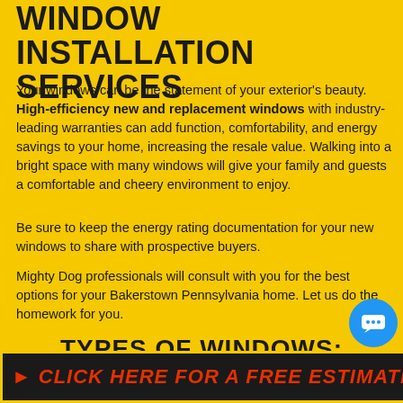WINDOW INSTALLATION SERVICES
Your windows can be the statement of your exterior's beauty. High-efficiency new and replacement windows with industry-leading warranties can add function, comfortability, and energy savings to your home, increasing the resale value. Walking into a bright space with many windows will give your family and guests a comfortable and cheery environment to enjoy.
Be sure to keep the energy rating documentation for your new windows to share with prospective buyers.
Mighty Dog professionals will consult with you for the best options for your Bakerstown Pennsylvania home. Let us do the homework for you.
TYPES OF WINDOWS:
CLICK HERE FOR A FREE ESTIMATE!